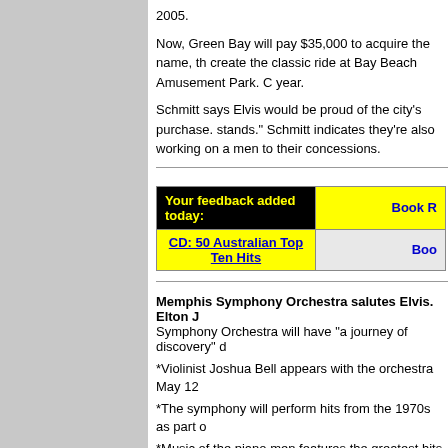2005.
Now, Green Bay will pay $35,000 to acquire the name, th create the classic ride at Bay Beach Amusement Park. C year.
Schmitt says Elvis would be proud of the city's purchase. stands." Schmitt indicates they're also working on a men to their concessions.
| Your feedback added today: | Book R |
| --- | --- |
| CD: 50 Australian Top Ten Hits | Boo |
Memphis Symphony Orchestra salutes Elvis. Elton J Symphony Orchestra will have "a journey of discovery" d
*Violinist Joshua Bell appears with the orchestra May 12
*The symphony will perform hits from the 1970s as part o
*Music of the piano men features the greatest hits of Eltc
*And next Jan. 8, the orchestra celebrates Elvis Presley's